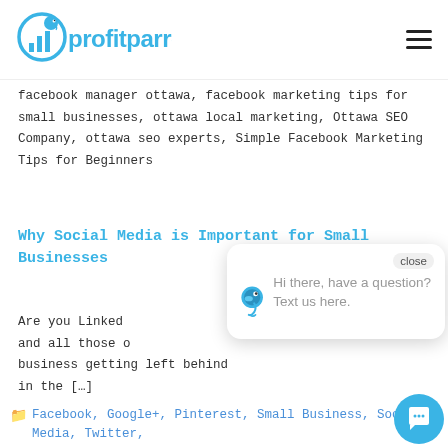[Figure (logo): Profit Parrot logo — blue parrot icon with bar chart, text 'profitparrot' in blue]
facebook manager ottawa, facebook marketing tips for small businesses, ottawa local marketing, Ottawa SEO Company, ottawa seo experts, Simple Facebook Marketing Tips for Beginners
Why Social Media is Important for Small Businesses
Are you Linked... and all those o... business getting left behind in the […]
Facebook, Google+, Pinterest, Small Business, Social Media, Twitter, facebook, ...